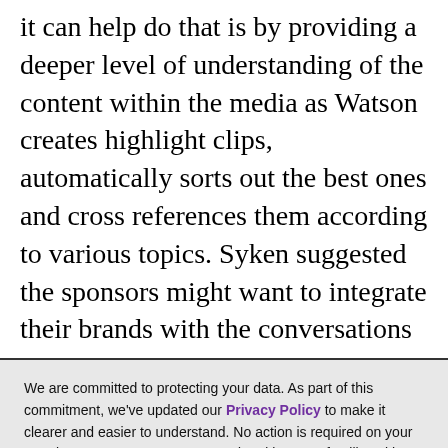it can help do that is by providing a deeper level of understanding of the content within the media as Watson creates highlight clips, automatically sorts out the best ones and cross references them according to various topics. Syken suggested the sponsors might want to integrate their brands with the conversations
We are committed to protecting your data. As part of this commitment, we've updated our Privacy Policy to make it clearer and easier to understand. No action is required on your part, but we encourage you to read and become familiar with our updated policy and Terms Of Service.
Thank you for your continued support and readership.
-The AList Team
ACCEPT